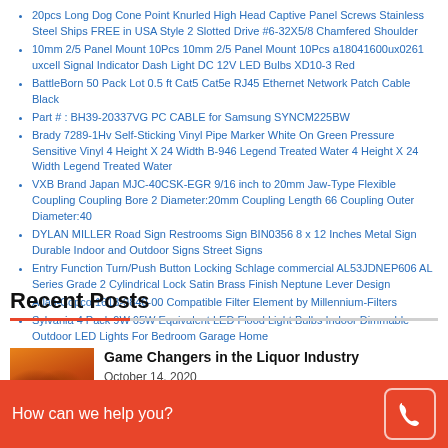20pcs Long Dog Cone Point Knurled High Head Captive Panel Screws Stainless Steel Ships FREE in USA Style 2 Slotted Drive #6-32X5/8 Chamfered Shoulder
10mm 2/5 Panel Mount 10Pcs 10mm 2/5 Panel Mount 10Pcs a18041600ux0261 uxcell Signal Indicator Dash Light DC 12V LED Bulbs XD10-3 Red
BattleBorn 50 Pack Lot 0.5 ft Cat5 Cat5e RJ45 Ethernet Network Patch Cable Black
Part # : BH39-20337VG PC CABLE for Samsung SYNCM225BW
Brady 7289-1Hv Self-Sticking Vinyl Pipe Marker White On Green Pressure Sensitive Vinyl 4 Height X 24 Width B-946 Legend Treated Water 4 Height X 24 Width Legend Treated Water
VXB Brand Japan MJC-40CSK-EGR 9/16 inch to 20mm Jaw-Type Flexible Coupling Coupling Bore 2 Diameter:20mm Coupling Length 66 Coupling Outer Diameter:40
DYLAN MILLER Road Sign Restrooms Sign BIN0356 8 x 12 Inches Metal Sign Durable Indoor and Outdoor Signs Street Signs
Entry Function Turn/Push Button Locking Schlage commercial AL53JDNEP606 AL Series Grade 2 Cylindrical Lock Satin Brass Finish Neptune Lever Design
Atlas-Copco 1613-9840-00 Compatible Filter Element by Millennium-Filters
Sylvania 4 Pack 9W 65W Equivalent LED Flood Light Bulbs Indoor Dimmable Outdoor LED Lights For Bedroom Garage Home
Recent Posts
[Figure (photo): Photo of liquor bottles on orange/brown background]
Game Changers in the Liquor Industry
October 14, 2020
How can we help you?